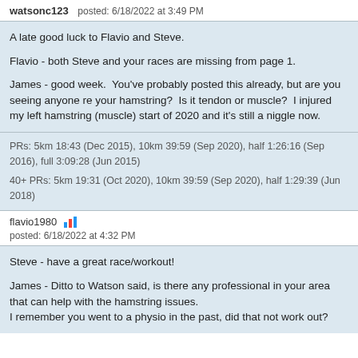watsonc123   posted: 6/18/2022 at 3:49 PM
A late good luck to Flavio and Steve.

Flavio - both Steve and your races are missing from page 1.

James - good week.  You've probably posted this already, but are you seeing anyone re your hamstring?  Is it tendon or muscle?  I injured my left hamstring (muscle) start of 2020 and it's still a niggle now.
PRs: 5km 18:43 (Dec 2015), 10km 39:59 (Sep 2020), half 1:26:16 (Sep 2016), full 3:09:28 (Jun 2015)

40+ PRs: 5km 19:31 (Oct 2020), 10km 39:59 (Sep 2020), half 1:29:39 (Jun 2018)
flavio1980   posted: 6/18/2022 at 4:32 PM
Steve - have a great race/workout!

James - Ditto to Watson said, is there any professional in your area that can help with the hamstring issues.
I remember you went to a physio in the past, did that not work out?